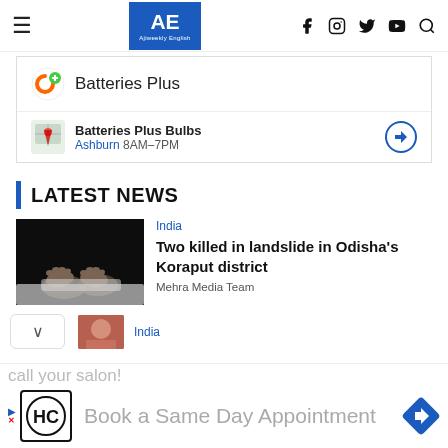AE Ajiweekly English
[Figure (screenshot): Batteries Plus ad widget showing logo, store name 'Batteries Plus Bulbs', location 'Ashburn 8AM-7PM', and navigation arrow button]
LATEST NEWS
[Figure (photo): Dark image showing feet of a body covered with white cloth]
India
Two killed in landslide in Odisha's Koraput district
Mehra Media Team
India
[Figure (screenshot): Bottom ad for HC salon booking - 'call your salon!' and 'Book a Same Day Appointment']